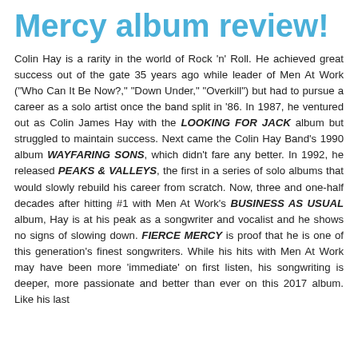Mercy album review!
Colin Hay is a rarity in the world of Rock 'n' Roll. He achieved great success out of the gate 35 years ago while leader of Men At Work ("Who Can It Be Now?," "Down Under," "Overkill") but had to pursue a career as a solo artist once the band split in '86. In 1987, he ventured out as Colin James Hay with the LOOKING FOR JACK album but struggled to maintain success. Next came the Colin Hay Band's 1990 album WAYFARING SONS, which didn't fare any better. In 1992, he released PEAKS & VALLEYS, the first in a series of solo albums that would slowly rebuild his career from scratch. Now, three and one-half decades after hitting #1 with Men At Work's BUSINESS AS USUAL album, Hay is at his peak as a songwriter and vocalist and he shows no signs of slowing down. FIERCE MERCY is proof that he is one of this generation's finest songwriters. While his hits with Men At Work may have been more 'immediate' on first listen, his songwriting is deeper, more passionate and better than ever on this 2017 album. Like his last